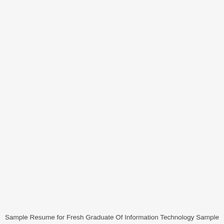Sample Resume for Fresh Graduate Of Information Technology Sample